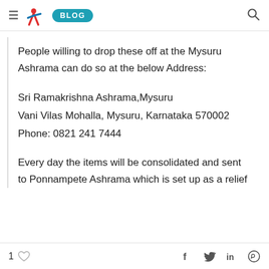≡ SMI BLOG 🔍
People willing to drop these off at the Mysuru Ashrama can do so at the below Address:
Sri Ramakrishna Ashrama,Mysuru
Vani Vilas Mohalla, Mysuru, Karnataka 570002
Phone: 0821 241 7444
Every day the items will be consolidated and sent to Ponnampete Ashrama which is set up as a relief
1 ♡   f   🐦   in   💬